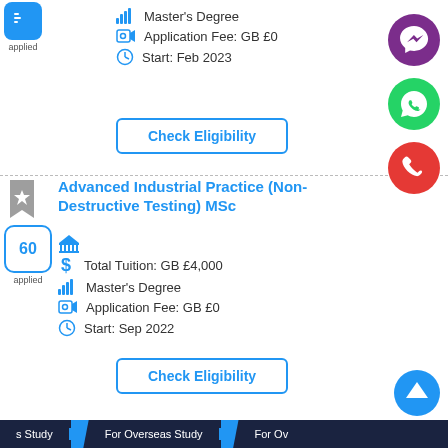[Figure (other): Applied badge with blue rounded rectangle icon and 'applied' label]
Master's Degree
Application Fee: GB £0
Start: Feb 2023
Check Eligibility
[Figure (other): Viber purple circle button on right side]
[Figure (other): WhatsApp green circle button on right side]
[Figure (other): Phone red circle button on right side]
[Figure (other): Bookmark star icon]
Advanced Industrial Practice (Non-Destructive Testing) MSc
[Figure (other): Applied badge with calendar showing 60 and 'applied' label]
[Figure (other): Bank/institution icon]
Total Tuition: GB £4,000
Master's Degree
Application Fee: GB £0
Start: Sep 2022
Check Eligibility
[Figure (other): Scroll-to-top blue circle arrow button]
s Study    For Overseas Study    For Ov